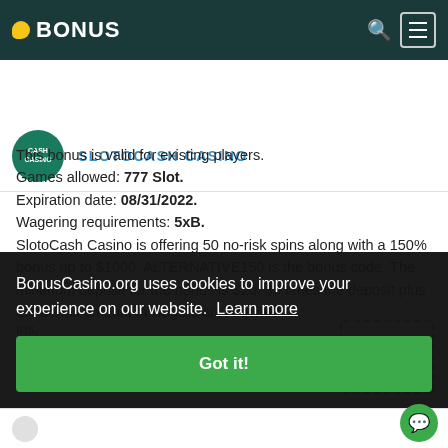BONUS
SLOTOCASH CASINO
This bonus is valid for existing players.
Games allowed: 777 Slot.
Expiration date: 08/31/2022.
Wagering requirements: 5xB.
SlotoCash Casino is offering 50 no-risk spins along with a 150% bonus up to $1000. ALTERNATIVE150 is the bonus code. The minimum deposit for the bonus is $20. 30 times the deposit plus the bonus amount in wagers are required
BonusCasino.org uses cookies to improve your experience on our website.  Learn more
Got it!